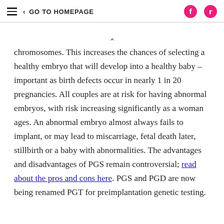GO TO HOMEPAGE
chromosomes. This increases the chances of selecting a healthy embryo that will develop into a healthy baby – important as birth defects occur in nearly 1 in 20 pregnancies. All couples are at risk for having abnormal embryos, with risk increasing significantly as a woman ages. An abnormal embryo almost always fails to implant, or may lead to miscarriage, fetal death later, stillbirth or a baby with abnormalities. The advantages and disadvantages of PGS remain controversial; read about the pros and cons here. PGS and PGD are now being renamed PGT for preimplantation genetic testing.